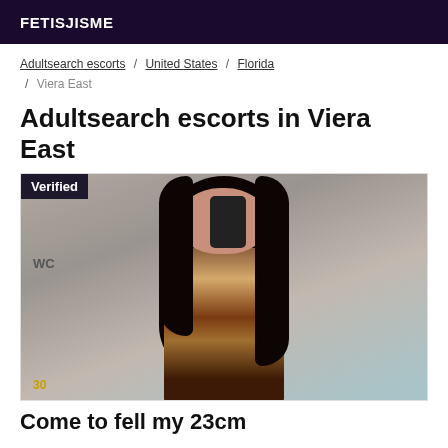FETISJISME
Adultsearch escorts / United States / Florida / Viera East
Adultsearch escorts in Viera East
[Figure (photo): A person in a patterned dress taking a mirror selfie in a bathroom. A 'Verified' badge appears in the top-left corner. 'WC' text visible on left. A number badge at bottom-left.]
Come to fell my 23cm